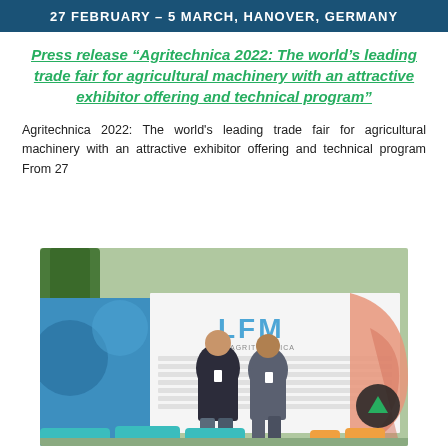27 FEBRUARY – 5 MARCH, HANOVER, GERMANY
Press release “Agritechnica 2022: The world’s leading trade fair for agricultural machinery with an attractive exhibitor offering and technical program”
Agritechnica 2022: The world's leading trade fair for agricultural machinery with an attractive exhibitor offering and technical program From 27
[Figure (photo): Two men standing in front of an LFM branded backdrop with sponsor logos. Colorful chairs in the foreground.]